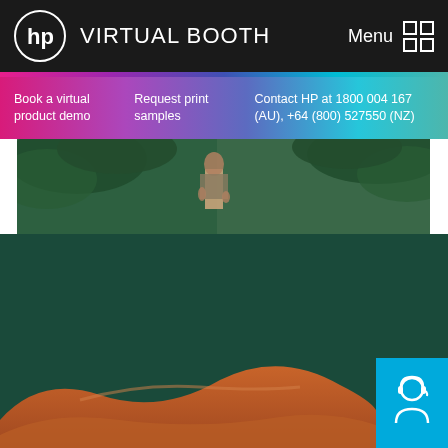HP VIRTUAL BOOTH
Book a virtual product demo
Request print samples
Contact HP at 1800 004 167 (AU), +64 (800) 527550 (NZ)
[Figure (photo): Forest/jungle scene with a person visible, used as header image in HP Virtual Booth interface]
[Figure (photo): Sandy desert dunes in orange/brown tones at the bottom of the page]
[Figure (illustration): Customer support icon (person with headset) in a cyan/blue square button in bottom right corner]